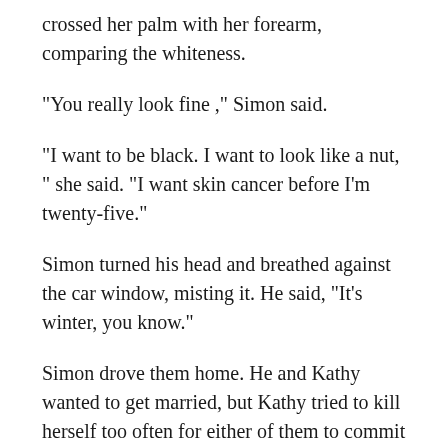crossed her palm with her forearm, comparing the whiteness.
"You really look fine ," Simon said.
"I want to be black. I want to look like a nut, " she said. "I want skin cancer before I'm twenty-five."
Simon turned his head and breathed against the car window, misting it. He said, "It's winter, you know."
Simon drove them home. He and Kathy wanted to get married, but Kathy tried to kill herself too often for either of them to commit to anything permanent. He and she had to